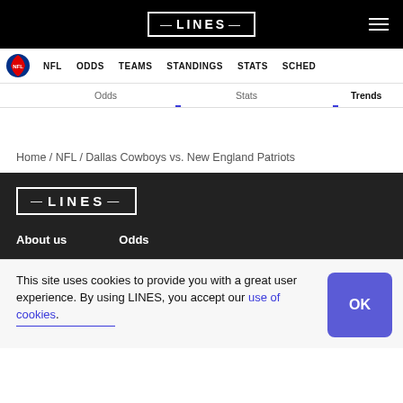LINES
NFL   ODDS   TEAMS   STANDINGS   STATS   SCHED
Odds   Stats   Trends
Home / NFL / Dallas Cowboys vs. New England Patriots
[Figure (logo): LINES logo in footer dark area]
About us   Odds
This site uses cookies to provide you with a great user experience. By using LINES, you accept our use of cookies.